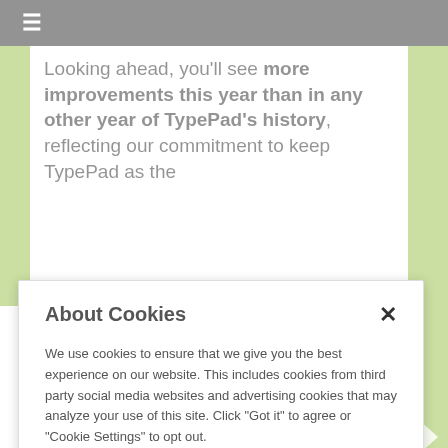≡
Looking ahead, you'll see more improvements this year than in any other year of TypePad's history, reflecting our commitment to keep TypePad as the
About Cookies
We use cookies to ensure that we give you the best experience on our website. This includes cookies from third party social media websites and advertising cookies that may analyze your use of this site. Click "Got it" to agree or "Cookie Settings" to opt out.
Cookie Notice
Got It
Cookies Settings